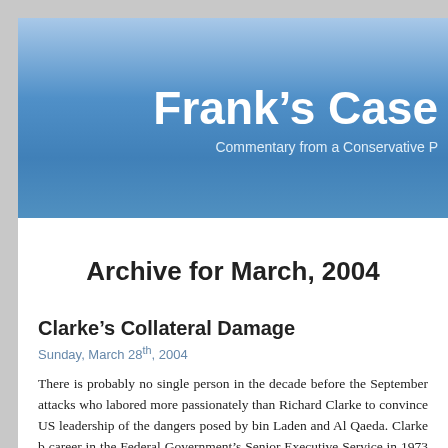Frank's Case
Commentary from a Conservative P
Archive for March, 2004
Clarke's Collateral Damage
Sunday, March 28th, 2004
There is probably no single person in the decade before the September attacks who labored more passionately than Richard Clarke to convince US leadership of the dangers posed by bin Laden and Al Qaeda. Clarke b career in the Federal Government's Senior Executive Service in 1973 under